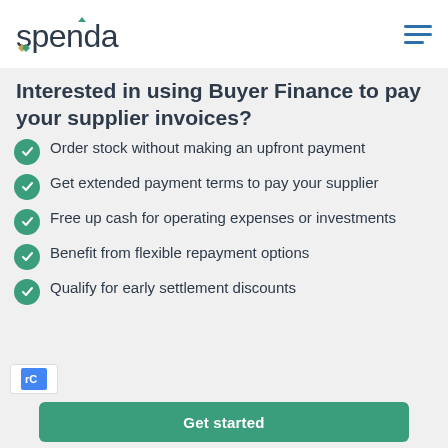[Figure (logo): Spenda logo with blue/teal wordmark and gold/teal diamond icon below]
Interested in using Buyer Finance to pay your supplier invoices?
Order stock without making an upfront payment
Get extended payment terms to pay your supplier
Free up cash for operating expenses or investments
Benefit from flexible repayment options
Qualify for early settlement discounts
Get started